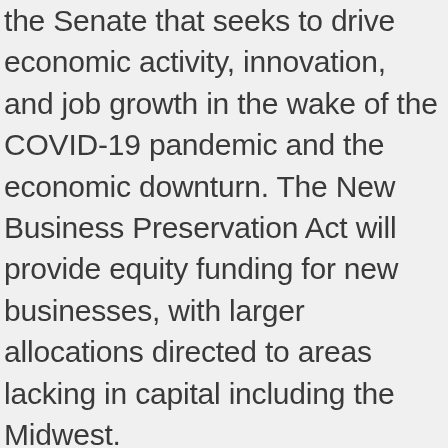the Senate that seeks to drive economic activity, innovation, and job growth in the wake of the COVID-19 pandemic and the economic downturn. The New Business Preservation Act will provide equity funding for new businesses, with larger allocations directed to areas lacking in capital including the Midwest.
While the bill was important even earlier, the events of recent weeks add urgency. Dollar for dollar, it represents possibly the most effective grassroots economic stimulus for the mid-to-long term (2-10 years). Even for the immediate months ahead, it can stem job losses among venture-based businesses.